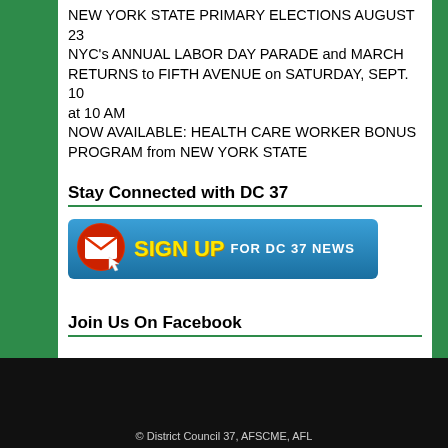NEW YORK STATE PRIMARY ELECTIONS AUGUST 23 NYC's ANNUAL LABOR DAY PARADE and MARCH RETURNS to FIFTH AVENUE on SATURDAY, SEPT. 10 at 10 AM
NOW AVAILABLE: HEALTH CARE WORKER BONUS PROGRAM from NEW YORK STATE
Stay Connected with DC 37
[Figure (other): Blue button graphic with red email envelope icon and cursor, and text 'SIGN UP FOR DC 37 NEWS' in yellow and white]
Join Us On Facebook
© District Council 37, AFSCME, AFL